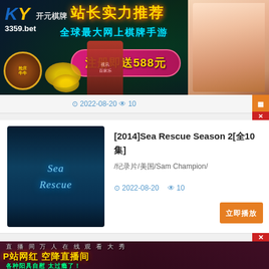[Figure (advertisement): KY 开元棋牌 3359.bet online casino banner advertisement. Yellow text reads 站长实力推荐, cyan text reads 全球最大网上棋牌手游, pink button reads 注册即送588元. Features female model, mascot characters, and gold coins.]
2022-08-20  10
[Figure (illustration): Sea Rescue TV show thumbnail with underwater ocean blue theme and Sea Rescue text logo]
[2014]Sea Rescue Season 2[全10集]
/纪录片/美国/Sam Champion/
2022-08-20  10
立即播放
[Figure (advertisement): Adult live streaming banner advertisement in red/dark tones. Text: 直播间万人在线观看大秀, P站网红 空降直播间, 各种阳具自慰 太过瘾了！]